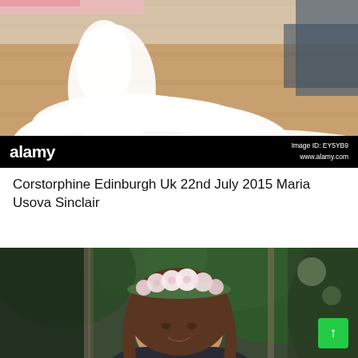[Figure (photo): Stock photo from Alamy showing a white wedding dress with tulle skirt on a wooden floor in a room. Alamy watermark bar at bottom with logo and Image ID: EY5YB9, www.alamy.com]
Corstorphine Edinburgh Uk 22nd July 2015 Maria Usova Sinclair
[Figure (photo): Stock photo from Alamy showing a smiling young woman with a floral flower crown made of pink and white flowers, dark hair, wearing a dark jacket, standing in front of green foliage/plants.]